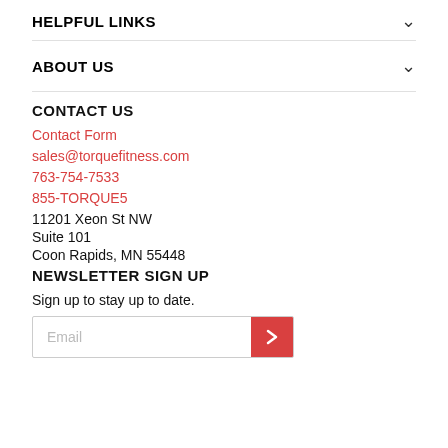HELPFUL LINKS
ABOUT US
CONTACT US
Contact Form
sales@torquefitness.com
763-754-7533
855-TORQUE5
11201 Xeon St NW
Suite 101
Coon Rapids, MN 55448
NEWSLETTER SIGN UP
Sign up to stay up to date.